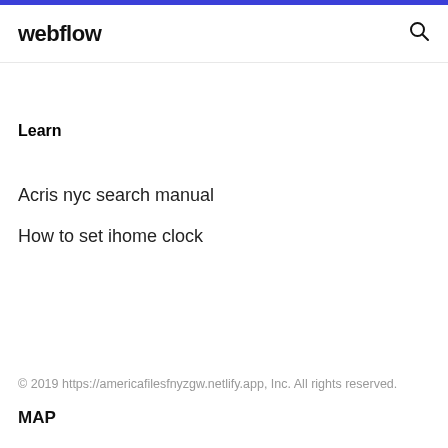webflow
Learn
Acris nyc search manual
How to set ihome clock
© 2019 https://americafilesfnyzgw.netlify.app, Inc. All rights reserved.
MAP